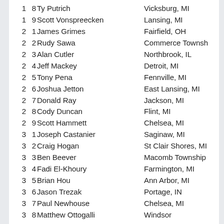1  8  Ty Putrich  Vicksburg, MI
1  9  Scott Vonspreecken  Lansing, MI
2  1  James Grimes  Fairfield, OH
2  2  Rudy Sawa  Commerce Township
2  3  Alan Cutler  Northbrook, IL
2  4  Jeff Mackey  Detroit, MI
2  5  Tony Pena  Fennville, MI
2  6  Joshua Jetton  East Lansing, MI
2  7  Donald Ray  Jackson, MI
2  8  Cody Duncan  Flint, MI
2  9  Scott Hammett  Chelsea, MI
3  1  Joseph Castanier  Saginaw, MI
3  2  Craig Hogan  St Clair Shores, MI
3  3  Ben Beever  Macomb Township
3  4  Fadi El-Khoury  Farmington, MI
3  5  Brian Hou  Ann Arbor, MI
3  6  Jason Trezak  Portage, IN
3  7  Paul Newhouse  Chelsea, MI
3  8  Matthew Ottogalli  Windsor
3  9  EMPTY
4  1  Adam Barry  New Baltimore, MI
4  2  Harry Stansell Jr  Plymouth, MI
4  3  Frederic Kohagen  Portland, MI
4  4  James Wilson  Minneapolis, MN